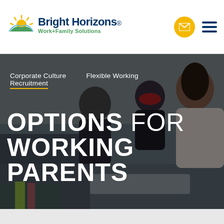[Figure (logo): Bright Horizons Work+Family Solutions logo with sun icon]
[Figure (photo): Photo of a woman working at a keyboard with two children beside her, one wearing a red mask]
Corporate Culture   Flexible Working
Recruitment
OPTIONS FOR WORKING PARENTS